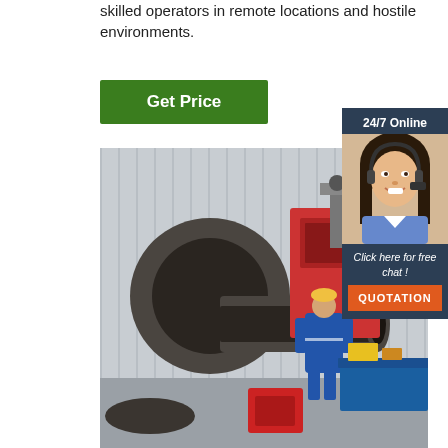skilled operators in remote locations and hostile environments.
[Figure (other): Green 'Get Price' button]
[Figure (photo): Industrial workshop scene with a large steel pipe elbow fitting in the foreground and a worker in blue overalls operating welding or pipe-cutting machinery in the background inside a metal-clad industrial building.]
[Figure (other): 24/7 Online chat widget with a photo of a smiling woman with headset, text 'Click here for free chat!' and an orange QUOTATION button.]